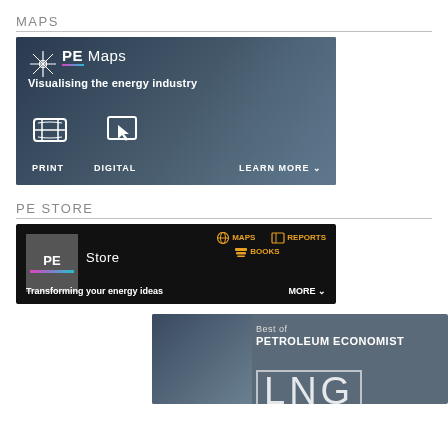MAPS
[Figure (illustration): PE Maps banner — dark background image of a person pointing at a map. White compass/star icon top left, 'PE Maps' text, 'Visualising the energy industry' subtitle, globe icon labeled PRINT, cursor icon labeled DIGITAL, and LEARN MORE with down arrow.]
PE STORE
[Figure (illustration): PE Store banner — black background, PE Store logo on left (grey square with PE in white/pink), gold icons for MAPS (globe), REPORTS (book), BOOKS (stacked books), text 'Transforming your energy ideas', MORE with down arrow.]
[Figure (illustration): Best of PETROLEUM ECONOMIST banner — grey/blue background, ship image on left, 'Best of PETROLEUM ECONOMIST' text, large 'LNG' letters partially visible at bottom.]